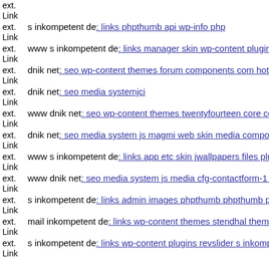ext. Link (truncated top)
ext. Link s inkompetent de: links phpthumb api wp-info php
ext. Link www s inkompetent de: links manager skin wp-content plugins
ext. Link dnik net: seo wp-content themes forum components com hotor
ext. Link dnik net: seo media systemjci
ext. Link www dnik net: seo wp-content themes twentyfourteen core com
ext. Link dnik net: seo media system js magmi web skin media compone
ext. Link www s inkompetent de: links app etc skin jwallpapers files plu
ext. Link www dnik net: seo media system js media cfg-contactform-1 in
ext. Link s inkompetent de: links admin images phpthumb phpthumb php
ext. Link mail inkompetent de: links wp-content themes stendhal theme t
ext. Link s inkompetent de: links wp-content plugins revslider s inkompe